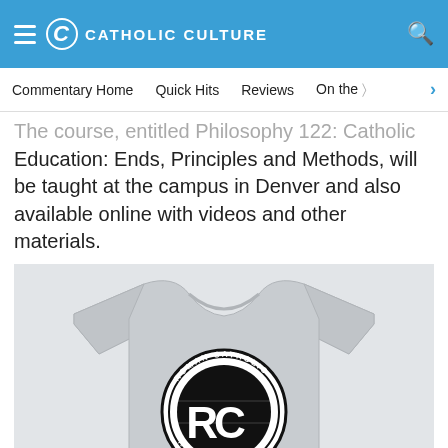CATHOLIC CULTURE
Commentary Home  Quick Hits  Reviews  On the ...
The course, entitled Philosophy 122: Catholic Education: Ends, Principles and Methods, will be taught at the campus in Denver and also available online with videos and other materials.
[Figure (photo): A gray t-shirt with a circular 'Roman Catholic' logo printed in black on the chest area.]